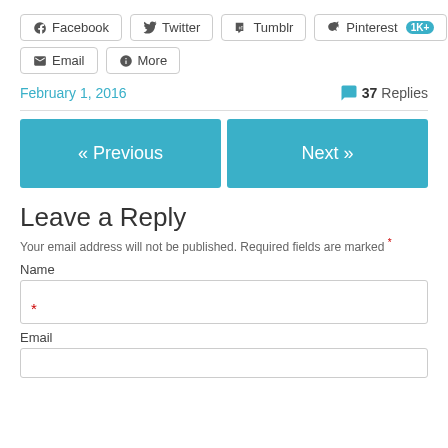Facebook  Twitter  Tumblr  Pinterest 1K+  Email  More (share buttons)
February 1, 2016
37 Replies
« Previous
Next »
Leave a Reply
Your email address will not be published. Required fields are marked *
Name
Email